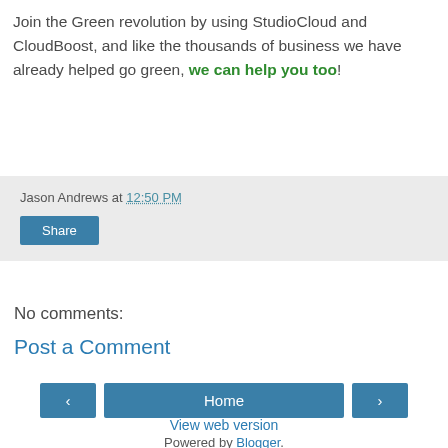Join the Green revolution by using StudioCloud and CloudBoost, and like the thousands of business we have already helped go green, we can help you too!
Jason Andrews at 12:50 PM
Share
No comments:
Post a Comment
‹ Home › View web version Powered by Blogger.